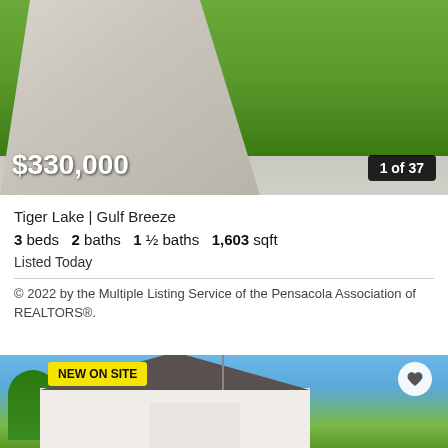[Figure (photo): Aerial/close-up view of a green lawn with a concrete driveway, showing grass and pavement.]
$330,000
1 of 37
Tiger Lake | Gulf Breeze
3 beds   2 baths   1 ½ baths   1,603 sqft
Listed Today
© 2022 by the Multiple Listing Service of the Pensacola Association of REALTORS®.
[Figure (photo): Exterior front view of a single-story house with a white garage door, brown front door, gray roof, antenna, and surrounding palm trees and blue sky. A 'NEW ON SITE' badge is overlaid on the top-left.]